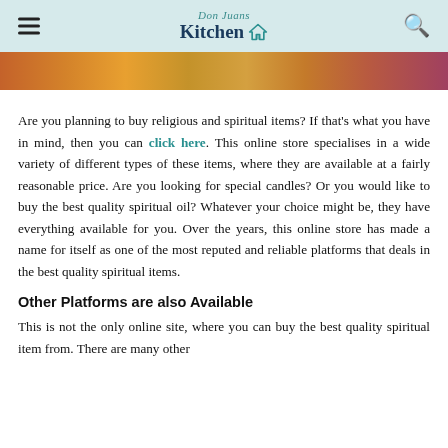Don Juans Kitchen
[Figure (photo): Partial photo of colorful items, cropped at top of content area]
Are you planning to buy religious and spiritual items? If that's what you have in mind, then you can click here. This online store specialises in a wide variety of different types of these items, where they are available at a fairly reasonable price. Are you looking for special candles? Or you would like to buy the best quality spiritual oil? Whatever your choice might be, they have everything available for you. Over the years, this online store has made a name for itself as one of the most reputed and reliable platforms that deals in the best quality spiritual items.
Other Platforms are also Available
This is not the only online site, where you can buy the best quality spiritual item from. There are many other